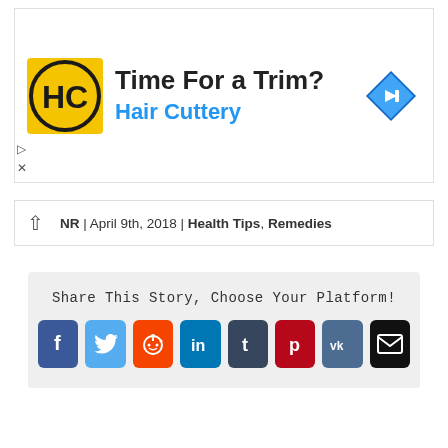[Figure (logo): Hair Cuttery advertisement banner with HC logo, text 'Time For a Trim? Hair Cuttery', and a blue navigation diamond icon]
NR | April 9th, 2018 | Health Tips, Remedies
Share This Story, Choose Your Platform!
[Figure (infographic): Social share buttons: Facebook, Twitter, Reddit, LinkedIn, Tumblr, Pinterest, VK, Email]